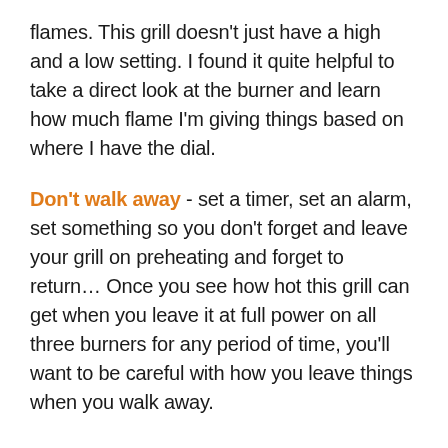flames. This grill doesn't just have a high and a low setting. I found it quite helpful to take a direct look at the burner and learn how much flame I'm giving things based on where I have the dial.
Don't walk away - set a timer, set an alarm, set something so you don't forget and leave your grill on preheating and forget to return… Once you see how hot this grill can get when you leave it at full power on all three burners for any period of time, you'll want to be careful with how you leave things when you walk away.